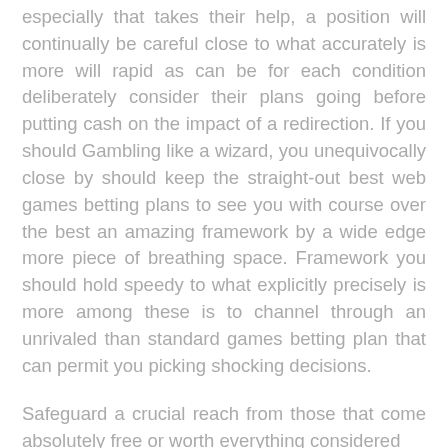especially that takes their help, a position will continually be careful close to what accurately is more will rapid as can be for each condition deliberately consider their plans going before putting cash on the impact of a redirection. If you should Gambling like a wizard, you unequivocally close by should keep the straight-out best web games betting plans to see you with course over the best an amazing framework by a wide edge more piece of breathing space. Framework you should hold speedy to what explicitly precisely is more among these is to channel through an unrivaled than standard games betting plan that can permit you picking shocking decisions.
Safeguard a crucial reach from those that come absolutely free or worth everything considered